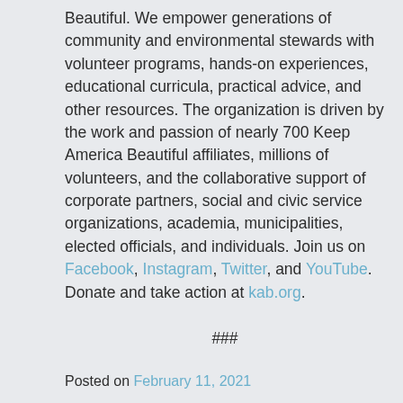Beautiful. We empower generations of community and environmental stewards with volunteer programs, hands-on experiences, educational curricula, practical advice, and other resources. The organization is driven by the work and passion of nearly 700 Keep America Beautiful affiliates, millions of volunteers, and the collaborative support of corporate partners, social and civic service organizations, academia, municipalities, elected officials, and individuals. Join us on Facebook, Instagram, Twitter, and YouTube. Donate and take action at kab.org.
###
Posted on February 11, 2021